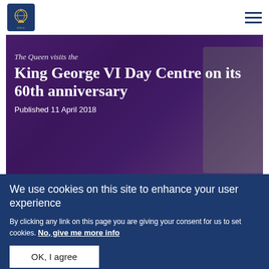Royal website header with royal crest logo and hamburger menu
[Figure (photo): Hero image of The Queen visiting the King George VI Day Centre, person wearing purple clothing visible, with bold white serif title text and publication date overlay]
The Queen visits the King George VI Day Centre on its 60th anniversary
Published 11 April 2018
[Figure (photo): Partial second image showing a person with a red and white hat, appearing to be cropped by the cookie consent banner]
We use cookies on this site to enhance your user experience
By clicking any link on this page you are giving your consent for us to set cookies. No, give me more info
OK, I agree